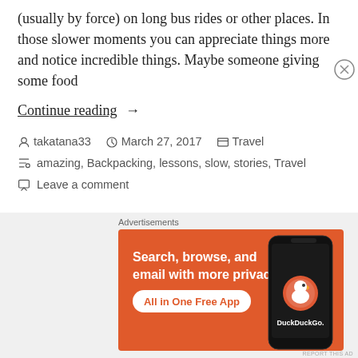(usually by force) on long bus rides or other places. In those slower moments you can appreciate things more and notice incredible things. Maybe someone giving some food
Continue reading  →
takatana33   March 27, 2017   Travel
amazing, Backpacking, lessons, slow, stories, Travel
Leave a comment
[Figure (screenshot): DuckDuckGo advertisement banner: orange background with text 'Search, browse, and email with more privacy. All in One Free App' and a phone image with DuckDuckGo logo]